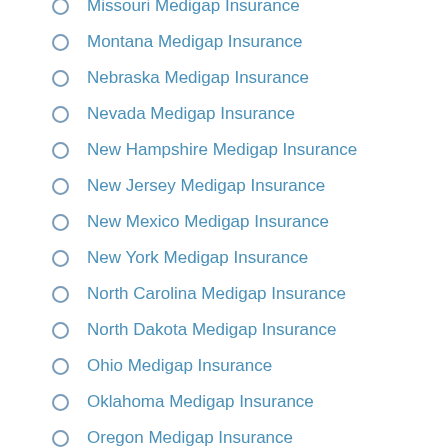Missouri Medigap Insurance
Montana Medigap Insurance
Nebraska Medigap Insurance
Nevada Medigap Insurance
New Hampshire Medigap Insurance
New Jersey Medigap Insurance
New Mexico Medigap Insurance
New York Medigap Insurance
North Carolina Medigap Insurance
North Dakota Medigap Insurance
Ohio Medigap Insurance
Oklahoma Medigap Insurance
Oregon Medigap Insurance
Pennsylvania Medigap Insurance